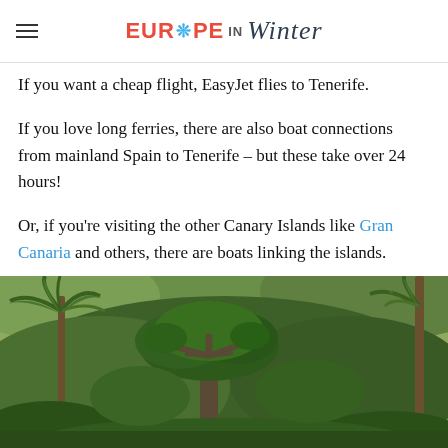EUROPE in Winter
If you want a cheap flight, EasyJet flies to Tenerife.
If you love long ferries, there are also boat connections from mainland Spain to Tenerife – but these take over 24 hours!
Or, if you're visiting the other Canary Islands like Gran Canaria and others, there are boats linking the islands.
What is the weather like in Tenerife in January?
[Figure (photo): Lush green landscape in Tenerife featuring a large dragon tree in the center, palm trees on the sides, and dense subtropical vegetation with hills in the background]